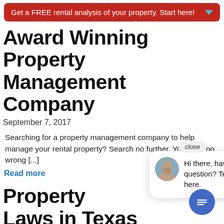Get a FREE rental analysis of your property. Start here!
Award Winning Property Management Company
September 7, 2017
Searching for a property management company to help manage your rental property? Search no further. You can't go wrong [...]
Read more
Property Laws in Texas
August 24, 2017
Property Management Laws in Texas  Are you aware that it is a
[Figure (screenshot): Chat popup with avatar photo of a woman and text 'Hi there, have a question? Text us here.' with a close button and blue chat FAB button.]